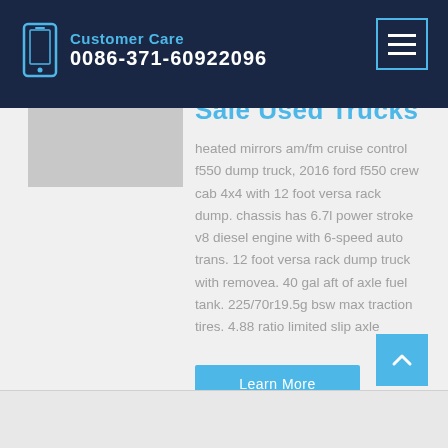Customer Care 0086-371-60922096
Sale Used Trucks On
heated mirrors am/fm cruise control f550 dump truck, 2016 ford f550 crew cab 4x4 with 12 foot versa rack dump. chassis has 6.7l power stroke v8 diesel engine with 6-speed auto trans. 12 foot versa rack dump truck with removea. 40 gal aft of axle fuel tank. 225/70r19.5g bsw max traction tires. 4.88 ratio limited slip axle
Learn More